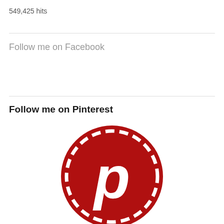549,425 hits
Follow me on Facebook
Follow me on Pinterest
[Figure (logo): Pinterest logo: red circle with dashed white border stitching and white letter P in the center]